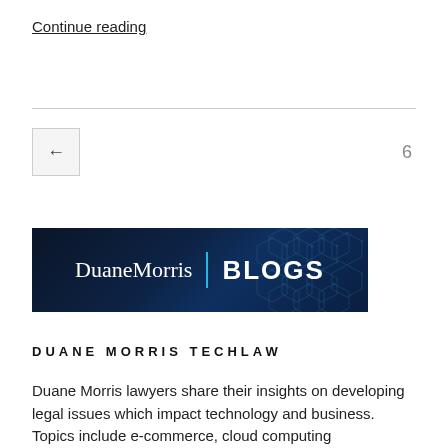Continue reading
[Figure (logo): Duane Morris | BLOGS logo banner on dark navy blue background with hexagonal pattern]
DUANE MORRIS TECHLAW
Duane Morris lawyers share their insights on developing legal issues which impact technology and business. Topics include e-commerce, cloud computing